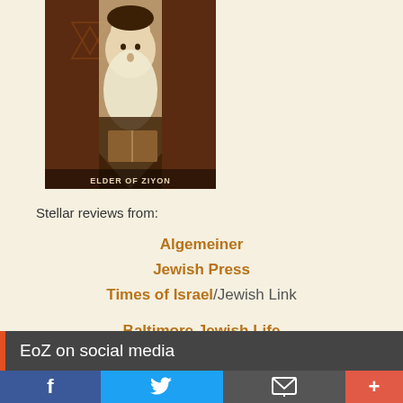[Figure (illustration): Book cover image with an elderly bearded man illustration, labeled 'ELDER OF ZIYON' in text at the bottom of the image]
Stellar reviews from:
Algemeiner
Jewish Press
Times of Israel/Jewish Link
Baltimore Jewish Life
EoZ on social media